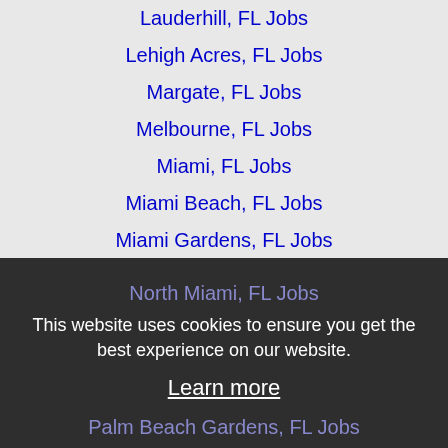Lauderhill, FL Jobs
Lehigh Acres, FL Jobs
Margate, FL Jobs
Melbourne, FL Jobs
Miami, FL Jobs
Miami Beach, FL Jobs
Miami Gardens, FL Jobs
Miami Lakes, FL Jobs
Miramar, FL Jobs
North Lauderdale, FL Jobs
North Miami, FL Jobs
This website uses cookies to ensure you get the best experience on our website.
Learn more
Palm Beach Gardens, FL Jobs
Pembroke Pines, FL Jobs
Plantation, FL Jobs
Pompano Beach, FL Jobs